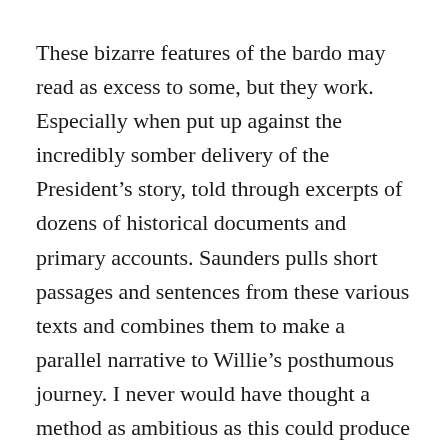These bizarre features of the bardo may read as excess to some, but they work. Especially when put up against the incredibly somber delivery of the President's story, told through excerpts of dozens of historical documents and primary accounts. Saunders pulls short passages and sentences from these various texts and combines them to make a parallel narrative to Willie's posthumous journey. I never would have thought a method as ambitious as this could produce poignant and cohesive prose, but somehow it does! The historical-collage chapters read so effortlessly that, if I didn't know any better, I would be convinced it was just Saunders executing his normal prose.